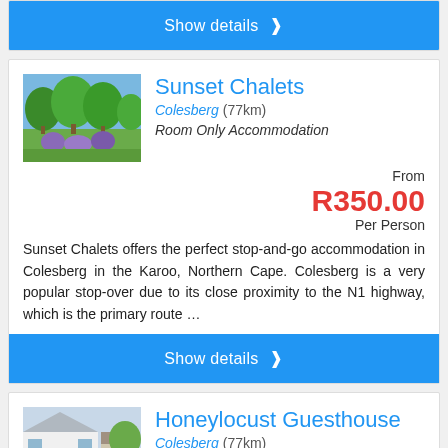Show details ❯
Sunset Chalets
Colesberg (77km)
Room Only Accommodation
From R350.00 Per Person
Sunset Chalets offers the perfect stop-and-go accommodation in Colesberg in the Karoo, Northern Cape. Colesberg is a very popular stop-over due to its close proximity to the N1 highway, which is the primary route ...
Show details ❯
Honeylocust Guesthouse
Colesberg (77km)
Bed & Breakfast Accommodation